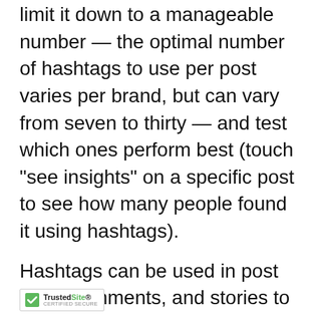limit it down to a manageable number — the optimal number of hashtags to use per post varies per brand, but can vary from seven to thirty — and test which ones perform best (touch "see insights" on a specific post to see how many people found it using hashtags).
Hashtags can be used in post copy, comments, and stories to increase the number of followers on Instagram. With so many businesses utilizing Instagram for business, this hashtag categorization system may really make your account stand out if used correctly.
[Figure (logo): TrustedSite Certified Secure badge with green checkmark icon]